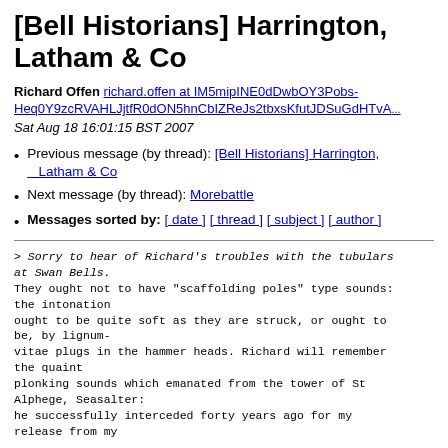[Bell Historians] Harrington, Latham & Co
Richard Offen richard.offen at IM5mipINE0dDwbOY3Pobs-Heq0Y9zcRVAHLJjtfR0dON5hnCbIZReJs2tbxsKfutJDSuGdHTvA...
Sat Aug 18 16:01:15 BST 2007
Previous message (by thread): [Bell Historians] Harrington, Latham & Co
Next message (by thread): Morebattle
Messages sorted by: [ date ] [ thread ] [ subject ] [ author ]
> Sorry to hear of Richard's troubles with the tubulars at Swan Bells.
They ought not to have "scaffolding poles" type sounds: the intonation
ought to be quite soft as they are struck, or ought to be, by lignum-
vitae plugs in the hammer heads. Richard will remember the quaint
plonking sounds which emanated from the tower of St Alphege, Seasalter:
he successfully interceded forty years ago for my
release from my...